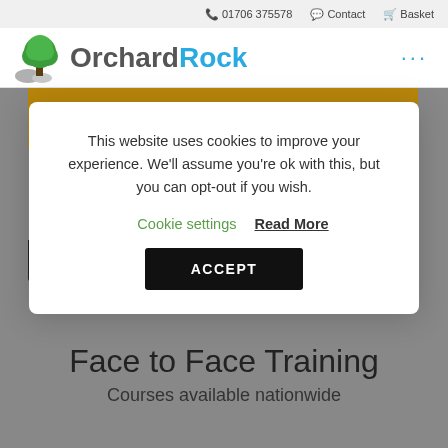01706 375578  Contact  Basket
[Figure (logo): Orchard Rock logo with tree and rocks icon, text 'OrchardRock' where 'Orchard' is grey and 'Rock' is blue]
[Figure (illustration): Website hero banner area with gold/dark colour blocks and grey background]
This website uses cookies to improve your experience. We'll assume you're ok with this, but you can opt-out if you wish. Cookie settings  Read More  ACCEPT
Face to Face Training
Courses available nationwide